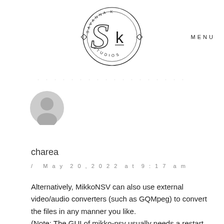[Figure (logo): Savanna K Studios circular logo with S and K letters in the center]
MENU
[Figure (illustration): Gray avatar/profile icon placeholder]
charea
/ May 20, 2022 at 9:17 am
Alternatively, MikkoNSV can also use external video/audio converters (such as GQMpeg) to convert the files in any manner you like.
(Note: The GUI of mikko-nsv usually needs a restart after